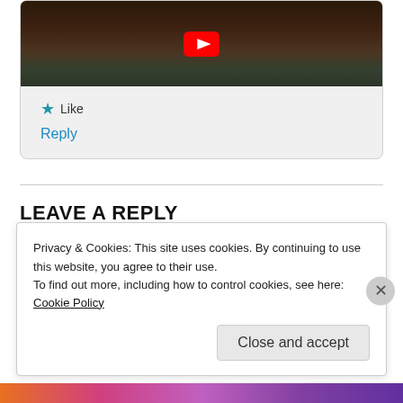[Figure (screenshot): YouTube video thumbnail showing a dark outdoor scene with a red YouTube play button overlay]
★ Like
Reply
LEAVE A REPLY
Privacy & Cookies: This site uses cookies. By continuing to use this website, you agree to their use.
To find out more, including how to control cookies, see here: Cookie Policy
Close and accept